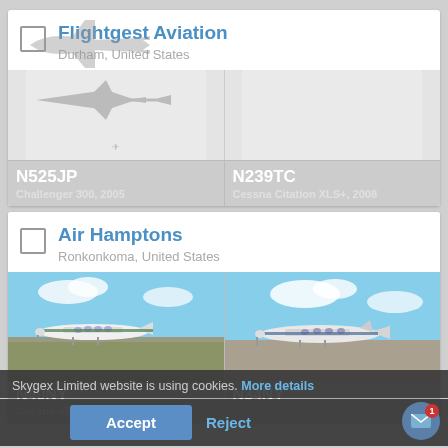Flightgest Aviation
Durham, United States
[Figure (screenshot): Two aircraft silhouette placeholders side by side for N525JP and N239TC]
N525JP
Challenger 300, 2005
N239TC
Cessna Citation XLS+, 2008
Air Hamptons
Ronkonkoma, United States
[Figure (photo): Two aircraft photos side by side for N40NY (Cessna 414, 1970) and N34NY]
N40NY
Cessna 414, 1970
N34NY
Skygex Limited website is using cookies. More details
Accept
Reject